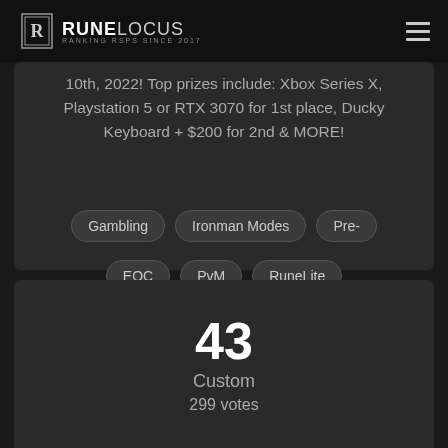RUNELOCUS — RANKING RSPS SINCE 2017
10th, 2022! Top prizes include: Xbox Series X, Playstation 5 or RTX 3070 for 1st place, Ducky Keyboard + $200 for 2nd & MORE!
Gambling
Ironman Modes
Pre-EOC
PvM
RuneLite
View
43
Custom
299 votes